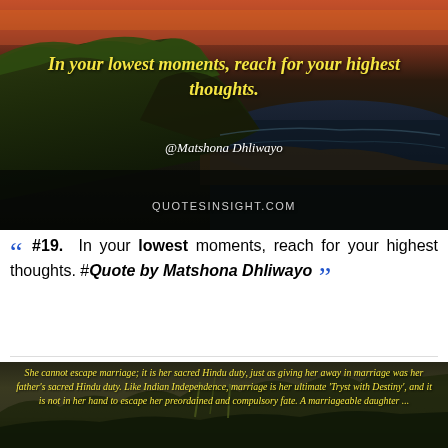[Figure (photo): Coastal landscape photograph with dramatic sunset sky in reds and oranges, green cliff in foreground, ocean and rocky beach in background. Yellow italic text overlay reads: 'In your lowest moments, reach for your highest thoughts.' White attribution text: '@Matshona Dhliwayo'. Grey text at bottom: 'QUOTESINSIGHT.COM']
“ #19. In your lowest moments, reach for your highest thoughts. #Quote by Matshona Dhliwayo ”
[Figure (photo): Dark olive/brown landscape background, possibly plants or nature scene. Yellow italic text overlay reads: 'She cannot escape marriage; it is her sacred Hindu duty, just as giving her away in marriage was her father’s sacred Hindu duty. Like Indian Independence, marriage is her ultimate ‘Tryst with Destiny’, and it is not in her hand to escape her preordained and compulsory fate. A marriageable daughter ...']